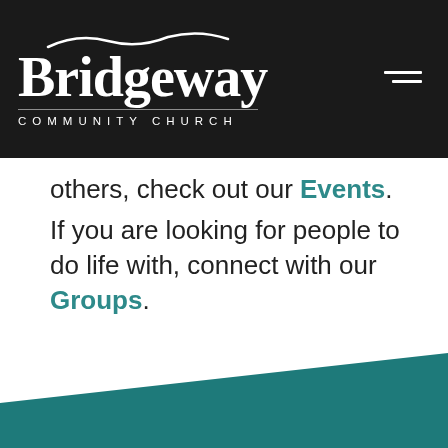Bridgeway Community Church
others, check out our Events. If you are looking for people to do life with, connect with our Groups.
[Figure (illustration): Teal diagonal wave/stripe shape at the bottom of the page forming a decorative section divider]